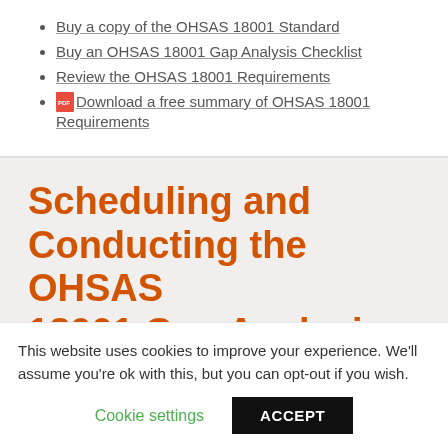Buy a copy of the OHSAS 18001 Standard
Buy an OHSAS 18001 Gap Analysis Checklist
Review the OHSAS 18001 Requirements
Download a free summary of OHSAS 18001 Requirements
Scheduling and Conducting the OHSAS 18001 Gap Analysis
This website uses cookies to improve your experience. We'll assume you're ok with this, but you can opt-out if you wish.
Cookie settings   ACCEPT